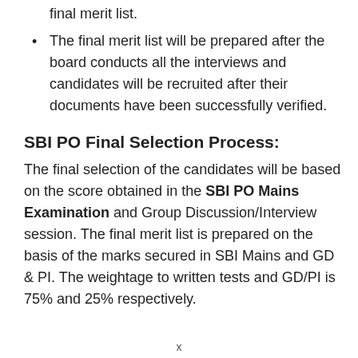final merit list.
The final merit list will be prepared after the board conducts all the interviews and candidates will be recruited after their documents have been successfully verified.
SBI PO Final Selection Process:
The final selection of the candidates will be based on the score obtained in the SBI PO Mains Examination and Group Discussion/Interview session. The final merit list is prepared on the basis of the marks secured in SBI Mains and GD & PI. The weightage to written tests and GD/PI is 75% and 25% respectively.
x